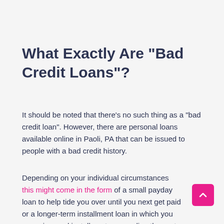What Exactly Are "Bad Credit Loans"?
It should be noted that there’s no such thing as a "bad credit loan". However, there are personal loans available online in Paoli, PA that can be issued to people with a bad credit history.
Depending on your individual circumstances this might come in the form of a small payday loan to help tide you over until you next get paid or a longer-term installment loan in which you repay in equal installments, spreading the cost of a larger sum.